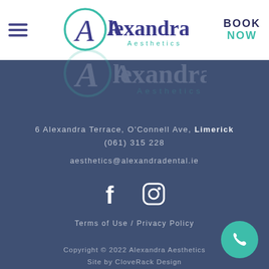[Figure (logo): Alexandra Aesthetics logo in header - teal circle with cursive A, 'Alexandra' in dark purple serif font, 'Aesthetics' in teal below]
BOOK
NOW
[Figure (logo): Alexandra Aesthetics watermark logo in footer background - same logo but transparent/faded]
6 Alexandra Terrace, O'Connell Ave, Limerick
(061) 315 228
aesthetics@alexandradental.ie
[Figure (infographic): Facebook and Instagram social media icons in white]
Terms of Use / Privacy Policy
Copyright © 2022 Alexandra Aesthetics
Site by CloveRack Design
[Figure (infographic): Teal circular phone/call button in bottom right corner]